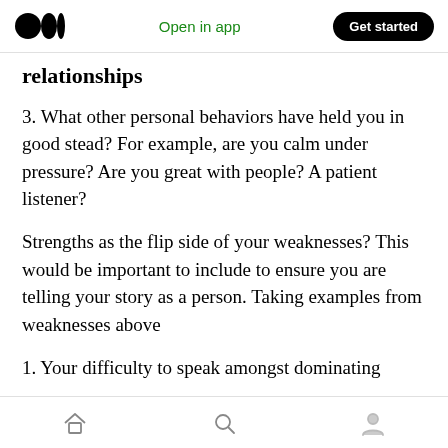Open in app | Get started
relationships
3. What other personal behaviors have held you in good stead? For example, are you calm under pressure? Are you great with people? A patient listener?
Strengths as the flip side of your weaknesses? This would be important to include to ensure you are telling your story as a person. Taking examples from weaknesses above
1. Your difficulty to speak amongst dominating
Home | Search | Profile